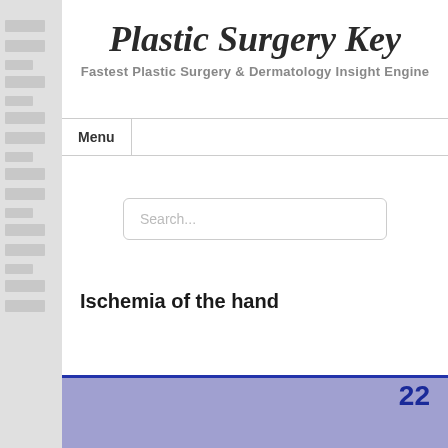Plastic Surgery Key
Fastest Plastic Surgery & Dermatology Insight Engine
Menu
Search...
Ischemia of the hand
22